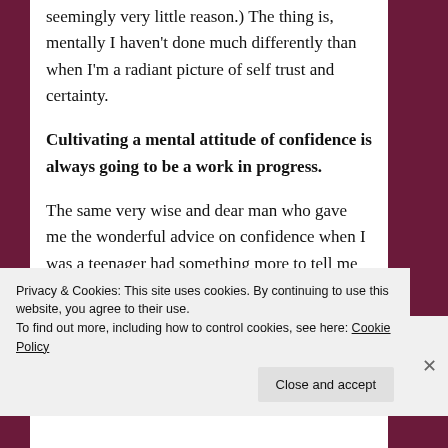seemingly very little reason.) The thing is, mentally I haven't done much differently than when I'm a radiant picture of self trust and certainty.
Cultivating a mental attitude of confidence is always going to be a work in progress.
The same very wise and dear man who gave me the wonderful advice on confidence when I was a teenager had something more to tell me in my early twenties. He said that even he (as a successful musician and composer for
Privacy & Cookies: This site uses cookies. By continuing to use this website, you agree to their use.
To find out more, including how to control cookies, see here: Cookie Policy